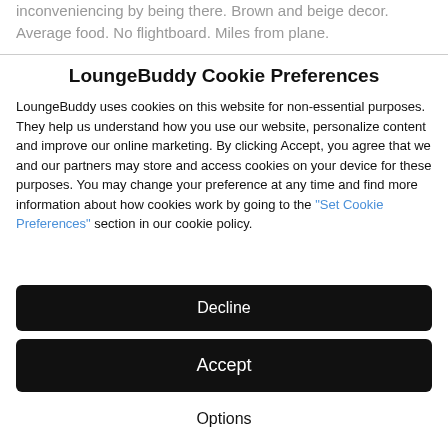inconveniencing by being there. Brown and beige decor. Average food. No flightboard. Miles from plane.
LoungeBuddy Cookie Preferences
LoungeBuddy uses cookies on this website for non-essential purposes. They help us understand how you use our website, personalize content and improve our online marketing. By clicking Accept, you agree that we and our partners may store and access cookies on your device for these purposes. You may change your preference at any time and find more information about how cookies work by going to the "Set Cookie Preferences" section in our cookie policy.
Decline
Accept
Options